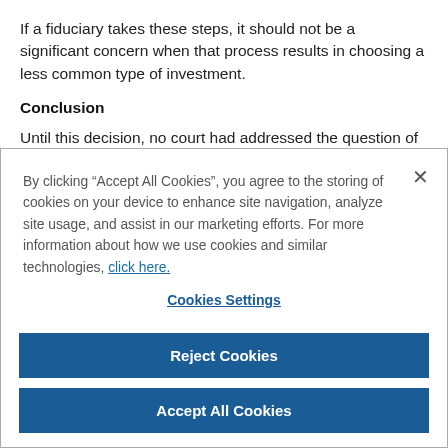If a fiduciary takes these steps, it should not be a significant concern when that process results in choosing a less common type of investment.
Conclusion
Until this decision, no court had addressed the question of whether including alternative assets on a defined contribution
By clicking “Accept All Cookies”, you agree to the storing of cookies on your device to enhance site navigation, analyze site usage, and assist in our marketing efforts. For more information about how we use cookies and similar technologies, click here.
Cookies Settings
Reject Cookies
Accept All Cookies